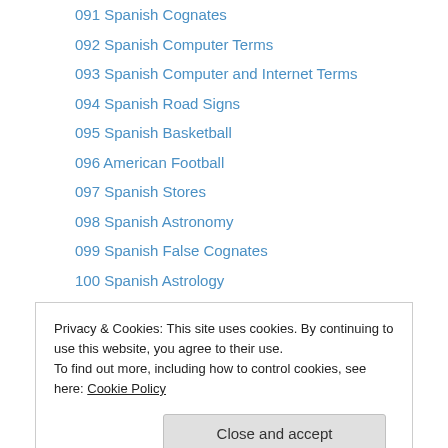091 Spanish Cognates
092 Spanish Computer Terms
093 Spanish Computer and Internet Terms
094 Spanish Road Signs
095 Spanish Basketball
096 American Football
097 Spanish Stores
098 Spanish Astronomy
099 Spanish False Cognates
100 Spanish Astrology
101 Spanish Love/Romantic Phrases
102 Spanish Soap Operas
103 Funny Spanish Phrases
Privacy & Cookies: This site uses cookies. By continuing to use this website, you agree to their use.
To find out more, including how to control cookies, see here: Cookie Policy
110 Spanish Scuba Terms